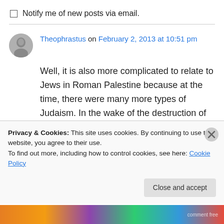Notify me of new posts via email.
Theophrastus on February 2, 2013 at 10:51 pm
Well, it is also more complicated to relate to Jews in Roman Palestine because at the time, there were many more types of Judaism. In the wake of the destruction of the Temple (and the defeat of Bar Kochba revolt), Rabbinic Judaism took over. Rabbinic literature labeled many types
Privacy & Cookies: This site uses cookies. By continuing to use this website, you agree to their use.
To find out more, including how to control cookies, see here: Cookie Policy
Close and accept